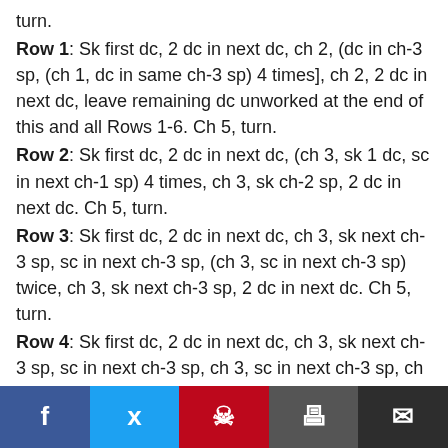turn.
Row 1: Sk first dc, 2 dc in next dc, ch 2, (dc in ch-3 sp, (ch 1, dc in same ch-3 sp) 4 times], ch 2, 2 dc in next dc, leave remaining dc unworked at the end of this and all Rows 1-6. Ch 5, turn.
Row 2: Sk first dc, 2 dc in next dc, (ch 3, sk 1 dc, sc in next ch-1 sp) 4 times, ch 3, sk ch-2 sp, 2 dc in next dc. Ch 5, turn.
Row 3: Sk first dc, 2 dc in next dc, ch 3, sk next ch-3 sp, sc in next ch-3 sp, (ch 3, sc in next ch-3 sp) twice, ch 3, sk next ch-3 sp, 2 dc in next dc. Ch 5, turn.
Row 4: Sk first dc, 2 dc in next dc, ch 3, sk next ch-3 sp, sc in next ch-3 sp, ch 3, sc in next ch-3 sp, ch 3, sk next ch-3 sp, 2 dc in next dc. Ch 5, turn.
Row 5: Sk first dc, 2 dc in next dc, ch 3, sk next ch-3 sp, sc in next ch-3 sp, ch 3, sk next ch-3 sp, 2 dc in next dc. Ch 5